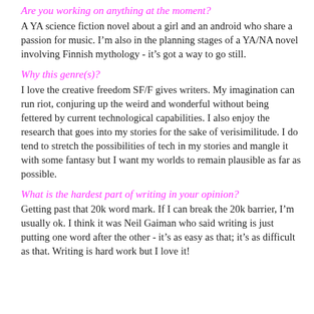Are you working on anything at the moment?
A YA science fiction novel about a girl and an android who share a passion for music. I'm also in the planning stages of a YA/NA novel involving Finnish mythology - it's got a way to go still.
Why this genre(s)?
I love the creative freedom SF/F gives writers. My imagination can run riot, conjuring up the weird and wonderful without being fettered by current technological capabilities. I also enjoy the research that goes into my stories for the sake of verisimilitude. I do tend to stretch the possibilities of tech in my stories and mangle it with some fantasy but I want my worlds to remain plausible as far as possible.
What is the hardest part of writing in your opinion?
Getting past that 20k word mark. If I can break the 20k barrier, I'm usually ok. I think it was Neil Gaiman who said writing is just putting one word after the other - it's as easy as that; it's as difficult as that. Writing is hard work but I love it!